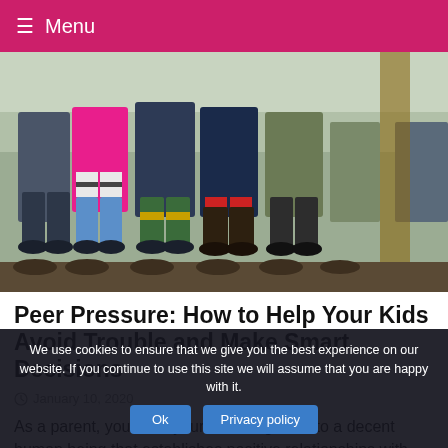≡ Menu
[Figure (photo): A row of children standing together outdoors, visible from waist down, wearing rain boots and colorful clothing. Multiple pairs of muddy boots in various colors — grey, blue, green, red.]
Peer Pressure: How to Help Your Kids Avoid Trouble and Make Smart Decisions
January 10, 2020
As a parent, you want your child to grow into a decent human being that establishes positive relationships with
We use cookies to ensure that we give you the best experience on our website. If you continue to use this site we will assume that you are happy with it.